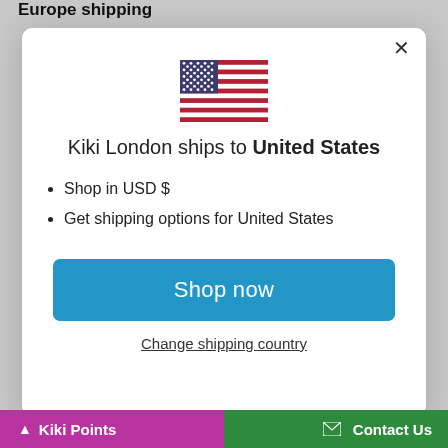Europe shipping
[Figure (illustration): US flag emoji/icon centered in modal dialog]
Kiki London ships to United States
Shop in USD $
Get shipping options for United States
Shop now
Change shipping country
Kiki Points | Contact Us